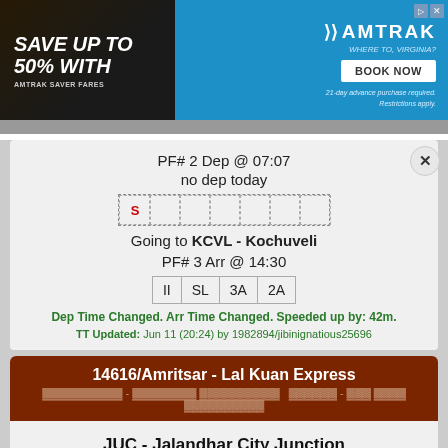[Figure (infographic): Amtrak advertisement banner: Save up to 50% with Amtrak Saver Fares, BOOK NOW button, 21-day advance purchase required, restrictions apply]
PF# 2 Dep @ 07:07
no dep today
S (Sunday indicator in day grid)
Going to KCVL - Kochuveli
PF# 3 Arr @ 14:30
II SL 3A 2A (class availability)
Dep Time Changed. Arr Time Changed. Speeded up by: 42m.
TT Updated: Jun 11 (20:24) by 1982894/jibinignatious25696
14616/Amritsar - Lal Kuan Express
JUC - Jalandhar City Junction
PF# 2 Dep @ 07:07
ETD: n/a
S (Sunday indicator in day grid)
Going to LKU - Lal Kuan Junction